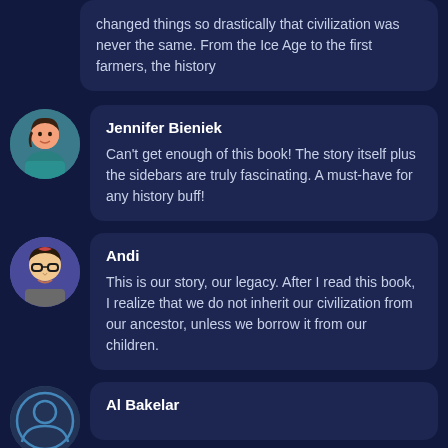changed things so drastically that civilization was never the same. From the Ice Age to the first farmers, the history
Jennifer Bieniek
Can't get enough of this book! The story itself plus the sidebars are truly fascinating. A must-have for any history buff!
Andi
This is our story, our legacy. After I read this book, I realize that we do not inherit our civilization from our ancestor, unless we borrow it from our children.
Al Bakelar